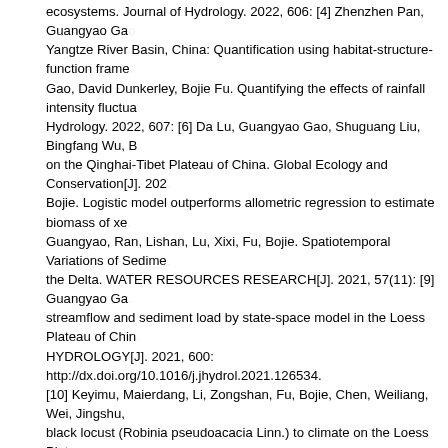ecosystems. Journal of Hydrology. 2022, 606: [4] Zhenzhen Pan, Guangyao Gao... Yangtze River Basin, China: Quantification using habitat-structure-function frame... Gao, David Dunkerley, Bojie Fu. Quantifying the effects of rainfall intensity fluctua... Hydrology. 2022, 607: [6] Da Lu, Guangyao Gao, Shuguang Liu, Bingfang Wu, B... on the Qinghai-Tibet Plateau of China. Global Ecology and Conservation[J]. 202... Bojie. Logistic model outperforms allometric regression to estimate biomass of xe... Guangyao, Ran, Lishan, Lu, Xixi, Fu, Bojie. Spatiotemporal Variations of Sedime... the Delta. WATER RESOURCES RESEARCH[J]. 2021, 57(11): [9] Guangyao Ga... streamflow and sediment load by state-space model in the Loess Plateau of Chin... HYDROLOGY[J]. 2021, 600: http://dx.doi.org/10.1016/j.jhydrol.2021.126534. [10] Keyimu, Maierdang, Li, Zongshan, Fu, Bojie, Chen, Weiliang, Wei, Jingshu,... black locust (Robinia pseudoacacia Linn.) to climate on the Loess Plateau, China. DENDROCHRONOLOGIA[J]. 2021, 67: http://dx.doi.org/10.1016/j.dendro... [11] Zhang, Jianjun, Gao, Guangyao, Fu, Bojie, Wang, Cong, Gupta, Hoshin, V, 2... spatiotemporal extreme precipitation over the Loess Plateau of China. Hydrology... 826, https://doaj.org/article/30d7d65dec174dfd87cee91e3690fc1a. [12] Lu, Da, Gao, Guangyao, Lu, Yihe, Ren, Yanjiao, Fu, Bojie. An effective accu... hypothetical and real landscape analyses. ECOLOGICAL INDICATORS[J]. 2020... [13] Wang, Di, Gao, Guangyao, Li, Junran, Yuan, Chuan, Lu, Yihe, Fu, Bojie. Sa... Loess Plateau of China. JOURNAL OF HYDROLOGY[J]. 2020, 585: http://dx.doi... [14] Jiao, Lei, An, Wenming, Li, Zongshan, Gao, Guangyao, Wang, Cong. Region... Plateau. ECOLOGICAL INDICATORS[J]. 2020, 115: http://dx.doi.org/10.1016/j.e... [15] Chen, Weiliang, Li, Zongshan, Jiao, Lei, Wang, Cong, Gao, Guangyao, Fu...